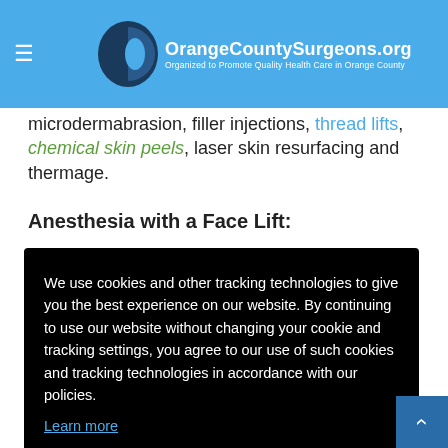OrangeCountySurgeons.org — Organized to Promote Quality Health Care in Orange County
microdermabrasion, filler injections, thread lifts, chemical skin peels, laser skin resurfacing and thermage.
Anesthesia with a Face Lift:
We use cookies and other tracking technologies to give you the best experience on our website. By continuing to use our website without changing your cookie and tracking settings, you agree to our use of such cookies and tracking technologies in accordance with our policies.
Learn more
Got it!
face lift is good. Patients should still expect to